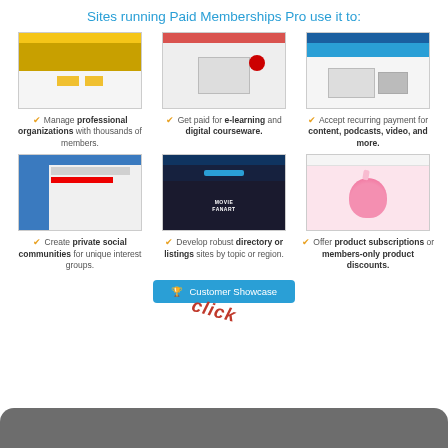Sites running Paid Memberships Pro use it to:
[Figure (screenshot): Screenshot of a professional organizations website with honeybee imagery and gold/yellow color scheme]
✔ Manage professional organizations with thousands of members.
[Figure (screenshot): Screenshot of an e-learning website with video interface]
✔ Get paid for e-learning and digital courseware.
[Figure (screenshot): Screenshot of a content/media website with blue navigation and device mockups]
✔ Accept recurring payment for content, podcasts, video, and more.
[Figure (screenshot): Screenshot of a private social community/news site]
✔ Create private social communities for unique interest groups.
[Figure (screenshot): Screenshot of Movie Fanart directory/listings site with dark theme]
✔ Develop robust directory or listings sites by topic or region.
[Figure (screenshot): Screenshot of a product subscription site with pink donut character]
✔ Offer product subscriptions or members-only product discounts.
Customer Showcase
click